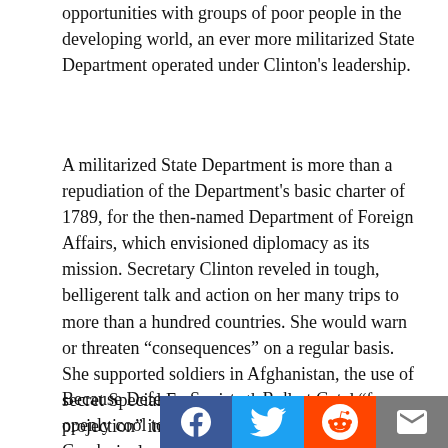opportunities with groups of poor people in the developing world, an ever more militarized State Department operated under Clinton's leadership.
A militarized State Department is more than a repudiation of the Department's basic charter of 1789, for the then-named Department of Foreign Affairs, which envisioned diplomacy as its mission. Secretary Clinton reveled in tough, belligerent talk and action on her many trips to more than a hundred countries. She would warn or threaten “consequences” on a regular basis. She supported soldiers in Afghanistan, the use of secret Special Forces in other places and “force projection” in East Asia to contain China. She aggressively supported or attacked resistance movements in dictatorships, depending on whether a regime played to Washington's tune.
Because Defense Secretary Robert Gates was openly cool to the drum beats for war on Li… C… k over and choreographed the NATO ouster of the
[Figure (other): Social media sharing buttons: Facebook (blue), Twitter (light blue), Reddit (orange), Email (grey)]